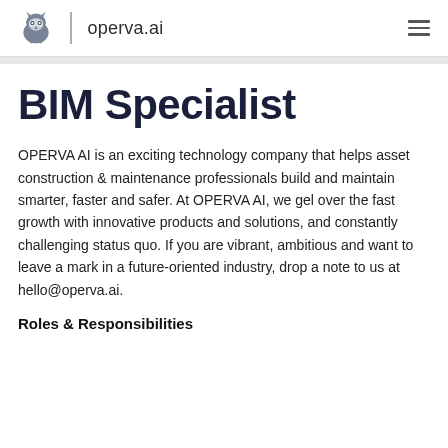operva.ai
BIM Specialist
OPERVA AI is an exciting technology company that helps asset construction & maintenance professionals build and maintain smarter, faster and safer. At OPERVA AI, we gel over the fast growth with innovative products and solutions, and constantly challenging status quo. If you are vibrant, ambitious and want to leave a mark in a future-oriented industry, drop a note to us at hello@operva.ai.
Roles & Responsibilities